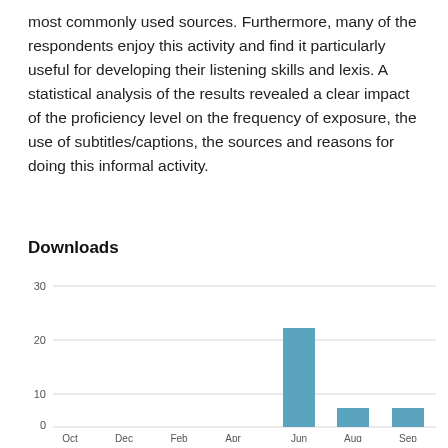most commonly used sources. Furthermore, many of the respondents enjoy this activity and find it particularly useful for developing their listening skills and lexis. A statistical analysis of the results revealed a clear impact of the proficiency level on the frequency of exposure, the use of subtitles/captions, the sources and reasons for doing this informal activity.
Downloads
[Figure (bar-chart): Downloads]